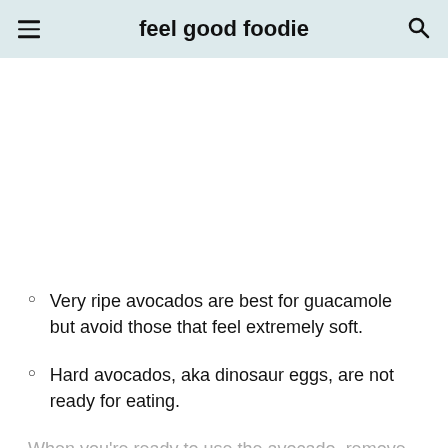feel good foodie
Very ripe avocados are best for guacamole but avoid those that feel extremely soft.
Hard avocados, aka dinosaur eggs, are not ready for eating.
When you're ready to use the avocado, remove the